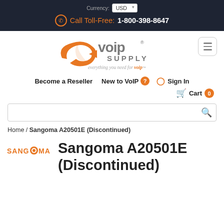Currency: USD | Call Toll-Free: 1-800-398-8647
[Figure (logo): VoIP Supply logo with orange arrow and 'everything you need for voip' tagline]
Become a Reseller   New to VoIP   Sign In
Cart 0
Home / Sangoma A20501E (Discontinued)
[Figure (logo): Sangoma logo]
Sangoma A20501E (Discontinued)